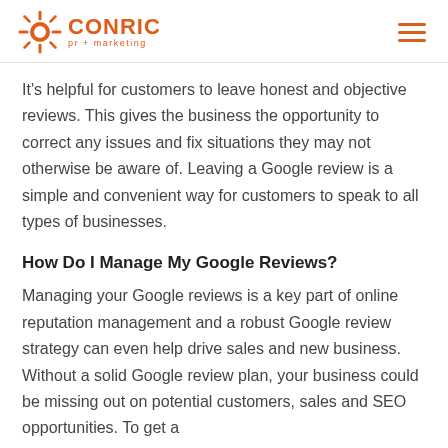CONRIC pr + marketing
It's helpful for customers to leave honest and objective reviews. This gives the business the opportunity to correct any issues and fix situations they may not otherwise be aware of. Leaving a Google review is a simple and convenient way for customers to speak to all types of businesses.
How Do I Manage My Google Reviews?
Managing your Google reviews is a key part of online reputation management and a robust Google review strategy can even help drive sales and new business. Without a solid Google review plan, your business could be missing out on potential customers, sales and SEO opportunities. To get a